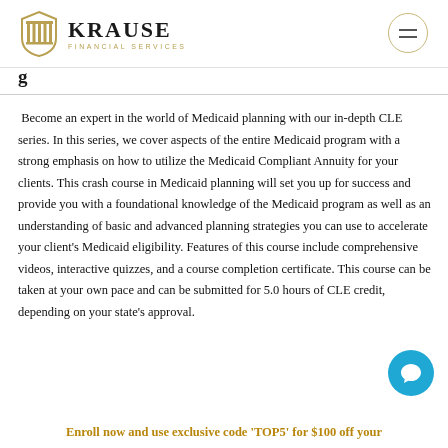Krause Financial Services
Become an expert in the world of Medicaid planning with our in-depth CLE series. In this series, we cover aspects of the entire Medicaid program with a strong emphasis on how to utilize the Medicaid Compliant Annuity for your clients. This crash course in Medicaid planning will set you up for success and provide you with a foundational knowledge of the Medicaid program as well as an understanding of basic and advanced planning strategies you can use to accelerate your client's Medicaid eligibility. Features of this course include comprehensive videos, interactive quizzes, and a course completion certificate. This course can be taken at your own pace and can be submitted for 5.0 hours of CLE credit, depending on your state's approval.
Enroll now and use exclusive code 'TOP5' for $100 off your